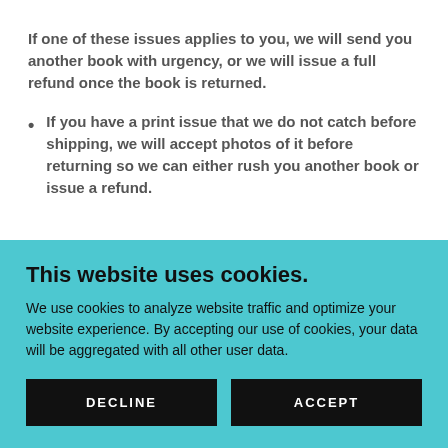If one of these issues applies to you, we will send you another book with urgency, or we will issue a full refund once the book is returned.
If you have a print issue that we do not catch before shipping, we will accept photos of it before returning so we can either rush you another book or issue a refund.
This website uses cookies.
We use cookies to analyze website traffic and optimize your website experience. By accepting our use of cookies, your data will be aggregated with all other user data.
DECLINE
ACCEPT